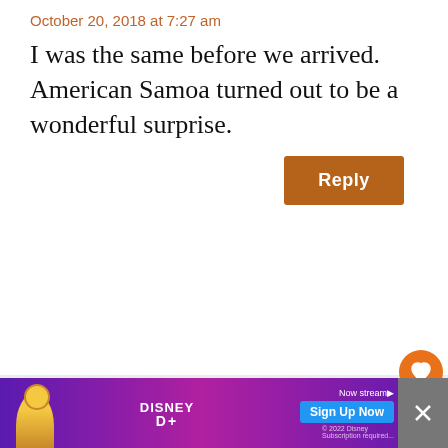October 20, 2018 at 7:27 am
I was the same before we arrived. American Samoa turned out to be a wonderful surprise.
Reply
Alexander Popkov
October 19, 2018 at 8:32 am
These mountainous landscapes remind me a lot about Norway
1.2K
[Figure (infographic): Disney The Proud Family advertisement banner with Disney+ logo and Sign Up Now button]
WHAT'S NEXT → Travel Bloggers...